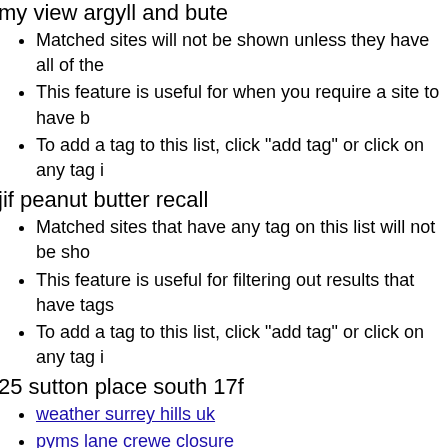my view argyll and bute
Matched sites will not be shown unless they have all of the
This feature is useful for when you require a site to have b
To add a tag to this list, click "add tag" or click on any tag i
jif peanut butter recall
Matched sites that have any tag on this list will not be sho
This feature is useful for filtering out results that have tags
To add a tag to this list, click "add tag" or click on any tag i
25 sutton place south 17f
weather surrey hills uk
pyms lane crewe closure
tucson piercing prices
brown discharge on 8th day of period
tsp account number
e39 wagon for sale
colonoscopy horror sto
In Case Of Emergency Please Save Our Pets, Write-on Eme Number (2 Labels of 4"x4" and 1 Label of 2.75"x2.75") Pet A Set. 5"x4" Zoom Price Buy. In Case Of Emergency Please Sa Pets (with Graphics) Pet Window Decal. 5"x4" Zoom Price B Fire Rescue, Please Save Our Pets (with Cat Pictogram) T